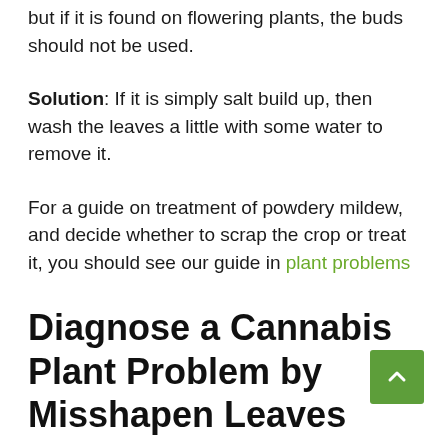but if it is found on flowering plants, the buds should not be used.
Solution: If it is simply salt build up, then wash the leaves a little with some water to remove it.
For a guide on treatment of powdery mildew, and decide whether to scrap the crop or treat it, you should see our guide in plant problems
Diagnose a Cannabis Plant Problem by Misshapen Leaves
Misshapen leaves on a cannabis plant can be caused by a number of things